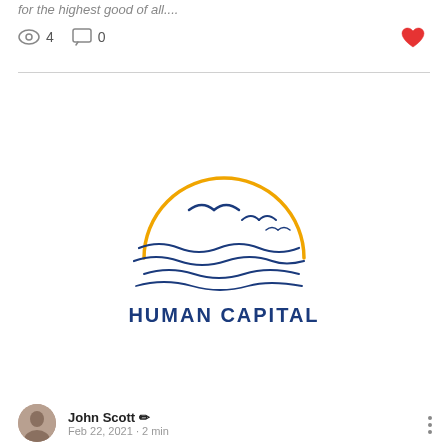for the highest good of all....
4 views  0 comments
[Figure (logo): Human Capital logo: a golden semicircle sun above two seagulls in flight and wavy blue water lines, with text HUMAN CAPITAL below in bold dark blue uppercase letters]
John Scott ✏
Feb 22, 2021  · 2 min